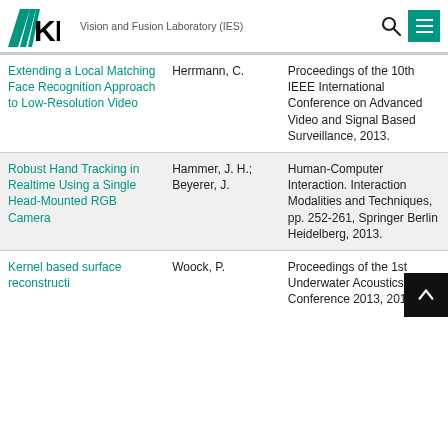KIT Vision and Fusion Laboratory (IES)
| Title | Author | Publication |
| --- | --- | --- |
| Extending a Local Matching Face Recognition Approach to Low-Resolution Video | Herrmann, C. | Proceedings of the 10th IEEE International Conference on Advanced Video and Signal Based Surveillance, 2013. |
| Robust Hand Tracking in Realtime Using a Single Head-Mounted RGB Camera | Hammer, J. H.; Beyerer, J. | Human-Computer Interaction. Interaction Modalities and Techniques, pp. 252-261, Springer Berlin Heidelberg, 2013. |
| Kernel based surface reconstructi | Woock, P. | Proceedings of the 1st Underwater Acoustics Conference 2013, 2013. |